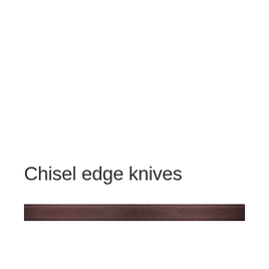Chisel edge knives
[Figure (photo): A narrow horizontal photo of a chisel edge knife blade showing a dark brownish-gray metal surface with subtle texture and grain patterns.]